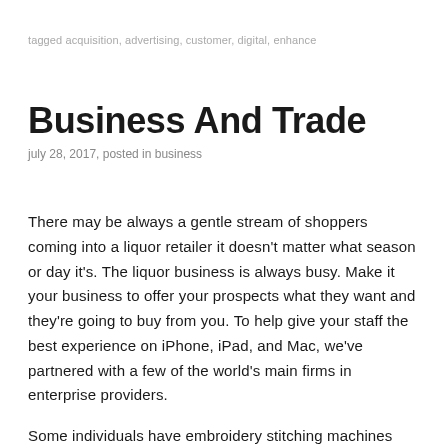tagged acquisition, advertising, customer, digital, enhance
Business And Trade
july 28, 2017, posted in business
There may be always a gentle stream of shoppers coming into a liquor retailer it doesn't matter what season or day it's. The liquor business is always busy. Make it your business to offer your prospects what they want and they're going to buy from you. To help give your staff the best experience on iPhone, iPad, and Mac, we've partnered with a few of the world's main firms in enterprise providers.
Some individuals have embroidery stitching machines